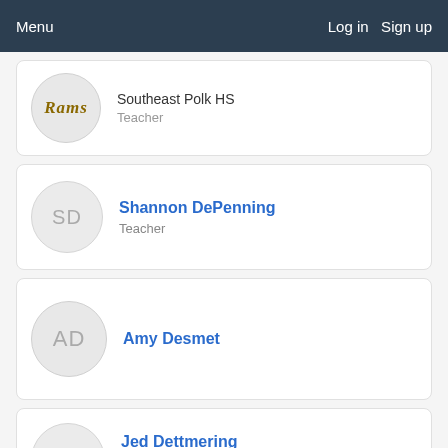Menu   Log in   Sign up
Southeast Polk HS · Teacher
Shannon DePenning · Teacher
Amy Desmet
Jed Dettmering · Southeast Polk High School · Southeast Polk High School